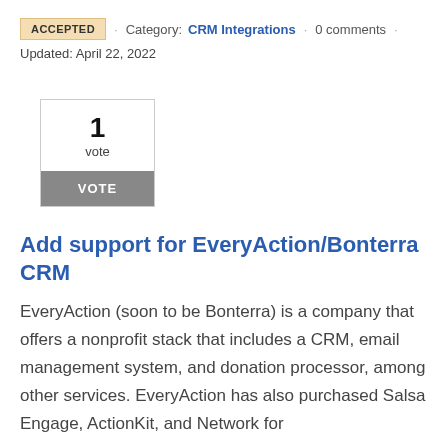ACCEPTED · Category: CRM Integrations · 0 comments ·
Updated: April 22, 2022
[Figure (other): Vote widget showing 1 vote with a VOTE button]
Add support for EveryAction/Bonterra CRM
EveryAction (soon to be Bonterra) is a company that offers a nonprofit stack that includes a CRM, email management system, and donation processor, among other services. EveryAction has also purchased Salsa Engage, ActionKit, and Network for